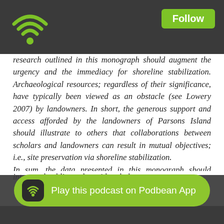Follow
research outlined in this monograph should augment the urgency and the immediacy for shoreline stabilization. Archaeological resources; regardless of their significance, have typically been viewed as an obstacle (see Lowery 2007) by landowners. In short, the generous support and access afforded by the landowners of Parsons Island should illustrate to others that collaborations between scholars and landowners can result in mutual objectives; i.e., site preservation via shoreline stabilization. In sum, the data presented in this monograph should illustrate to landowners, academicians, cultural resource managers, members of the interested public, and outside scholars ... what ... scenarios
[Figure (other): Podbean app podcast player overlay bar with WiFi-style icon and 'Play this podcast on Podbean App' button in green pill shape]